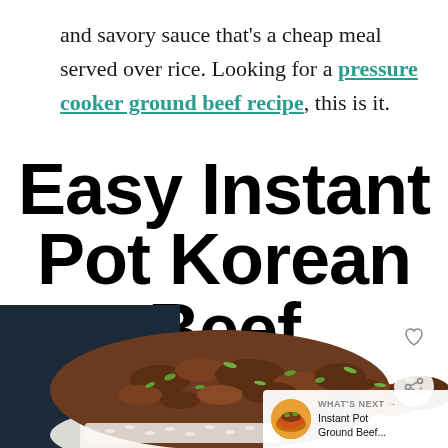and savory sauce that's a cheap meal served over rice. Looking for a pressure cooker ground beef recipe, this is it.
Easy Instant Pot Korean Beef
[Figure (photo): Close-up photo of Korean ground beef over white rice in a bowl, topped with sliced green onions, with a dark background. UI overlay shows heart/save button, share button, and a 'WHAT'S NEXT' card for Instant Pot Ground Beef.]